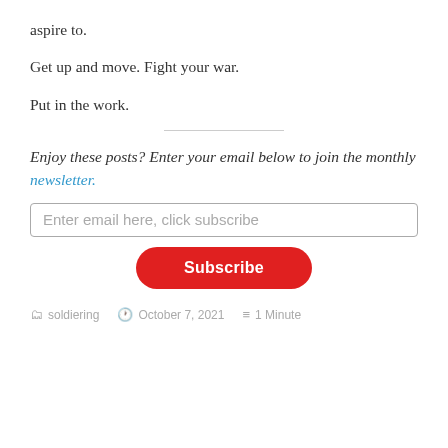aspire to.
Get up and move. Fight your war.
Put in the work.
Enjoy these posts? Enter your email below to join the monthly newsletter.
Enter email here, click subscribe
Subscribe
soldiering   October 7, 2021   1 Minute